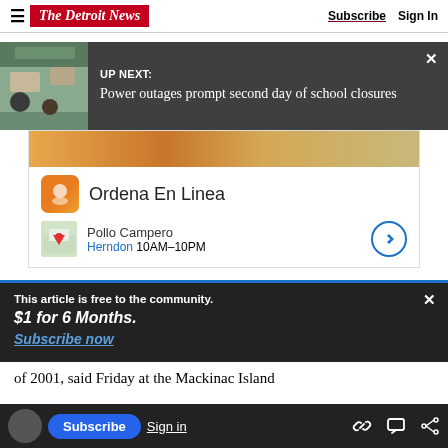The Detroit News — Subscribe | Sign In
[Figure (screenshot): Up Next overlay banner on The Detroit News website showing a classroom thumbnail image and text: UP NEXT: Power outages prompt second day of school closures]
[Figure (infographic): Advertisement for Ordena En Linea / Pollo Campero showing food image, orange icon, restaurant name, location Herndon 10AM-10PM, and a direction arrow button]
This article is free to the community.
$1 for 6 Months.
Subscribe now
of 2001, said Friday at the Mackinac Island
improvement from the status quo.